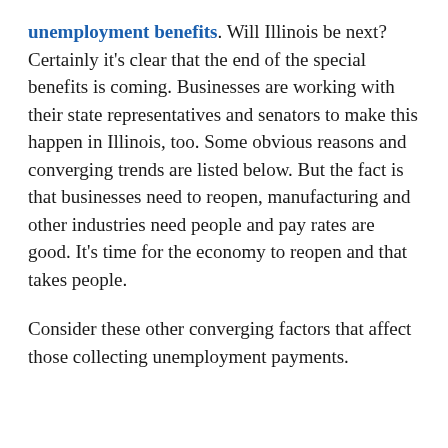unemployment benefits. Will Illinois be next? Certainly it's clear that the end of the special benefits is coming. Businesses are working with their state representatives and senators to make this happen in Illinois, too. Some obvious reasons and converging trends are listed below. But the fact is that businesses need to reopen, manufacturing and other industries need people and pay rates are good. It's time for the economy to reopen and that takes people.
Consider these other converging factors that affect those collecting unemployment payments.